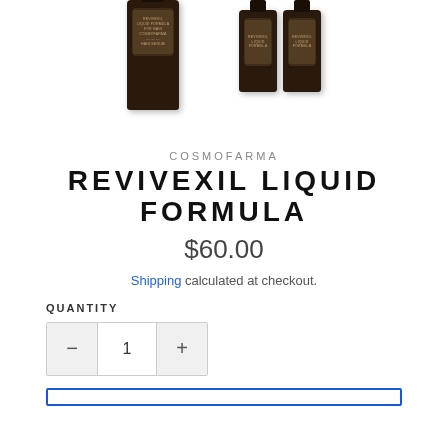[Figure (photo): Product photo of dark glass bottles (Revivexil Liquid Formula) on white background. One tall bottle on the left and two smaller bottles grouped on the right.]
COSMOFARMA
REVIVEXIL LIQUID FORMULA
$60.00
Shipping calculated at checkout.
QUANTITY
1